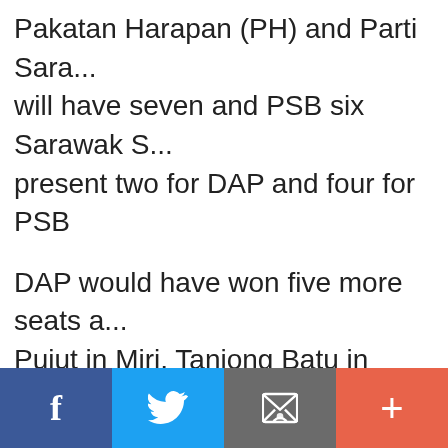Pakatan Harapan (PH) and Parti Sara... will have seven and PSB six Sarawak S... present two for DAP and four for PSB
DAP would have won five more seats... Pujut in Miri, Tanjong Batu in Bintulu, Sentosa in Kuching while PSB would h... Bawang Assam, Ba'kelalan, Batu Linta... Simanggang. Read the rest of this ent...
[Figure (other): Social sharing bar with Facebook, Twitter, Email, and Plus buttons]